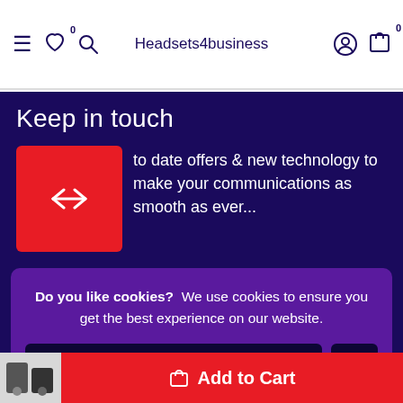Headsets4business
Keep in touch
to date offers & new technology to make your communications as smooth as ever...
Do you like cookies? We use cookies to ensure you get the best experience on our website.
Accept cookies
Subscribe
Add to Cart